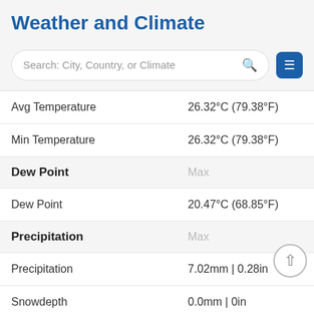Weather and Climate
[Figure (screenshot): Search bar reading 'Search: City, Country, or Climate' with a search icon, and a blue menu (hamburger) icon to the right]
|  | Max | Aver |
| --- | --- | --- |
| Avg Temperature | 26.32°C (79.38°F) | 25.2 |
| Min Temperature | 26.32°C (79.38°F) | 24.9 |
| Dew Point | Max | Aver |
| Dew Point | 20.47°C (68.85°F) | 19.2 |
| Precipitation | Max | Aver |
| Precipitation | 7.02mm | 0.28in | 1.17 |
| Snowdepth | 0.0mm | 0in | 0.0m |